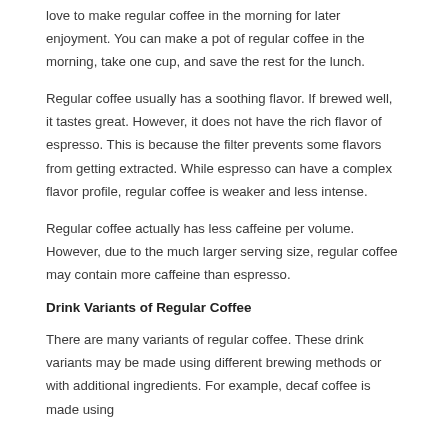love to make regular coffee in the morning for later enjoyment. You can make a pot of regular coffee in the morning, take one cup, and save the rest for the lunch.
Regular coffee usually has a soothing flavor. If brewed well, it tastes great. However, it does not have the rich flavor of espresso. This is because the filter prevents some flavors from getting extracted. While espresso can have a complex flavor profile, regular coffee is weaker and less intense.
Regular coffee actually has less caffeine per volume. However, due to the much larger serving size, regular coffee may contain more caffeine than espresso.
Drink Variants of Regular Coffee
There are many variants of regular coffee. These drink variants may be made using different brewing methods or with additional ingredients. For example, decaf coffee is made using